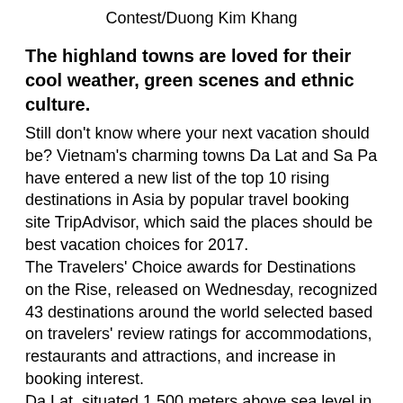Contest/Duong Kim Khang
The highland towns are loved for their cool weather, green scenes and ethnic culture.
Still don't know where your next vacation should be? Vietnam's charming towns Da Lat and Sa Pa have entered a new list of the top 10 rising destinations in Asia by popular travel booking site TripAdvisor, which said the places should be best vacation choices for 2017.
The Travelers' Choice awards for Destinations on the Rise, released on Wednesday, recognized 43 destinations around the world selected based on travelers' review ratings for accommodations, restaurants and attractions, and increase in booking interest.
Da Lat, situated 1,500 meters above sea level in the Central Highlands, came at number four in the top 10 list of rising destinations in Asia and Sa Pa in the northern highlands at number six.
Given various nicknames such as the city of eternal spring, the city of flowers and the city of love, Da Lat is recommended for providing a cool respite from Vietnam's year-round hot weather